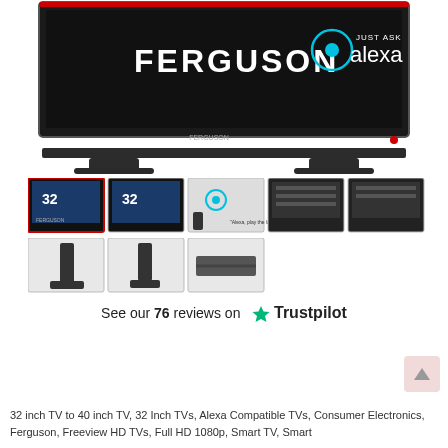[Figure (photo): Ferguson smart TV with stand, showing Ferguson logo and Just Ask Alexa badge on the screen]
[Figure (photo): Row of 8 thumbnail images of Ferguson TV from various angles including front with smart TV UI, Alexa voice, rear, and side views]
See our 76 reviews on ★ Trustpilot
32 inch TV to 40 inch TV, 32 Inch TVs, Alexa Compatible TVs, Consumer Electronics, Ferguson, Freeview HD TVs, Full HD 1080p, Smart TV, Smart